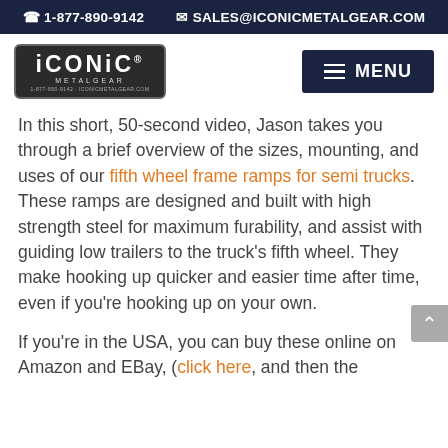1-877-890-9142   SALES@ICONICMETALGEAR.COM
[Figure (logo): Iconic Metal Gear logo badge — dark rectangular badge with 'ICONIC' text and 'METALGEAR' subtitle]
In this short, 50-second video, Jason takes you through a brief overview of the sizes, mounting, and uses of our fifth wheel frame ramps for semi trucks. These ramps are designed and built with high strength steel for maximum furability, and assist with guiding low trailers to the truck's fifth wheel. They make hooking up quicker and easier time after time, even if you're hooking up on your own.
If you're in the USA, you can buy these online on Amazon and EBay, (click here, and then the